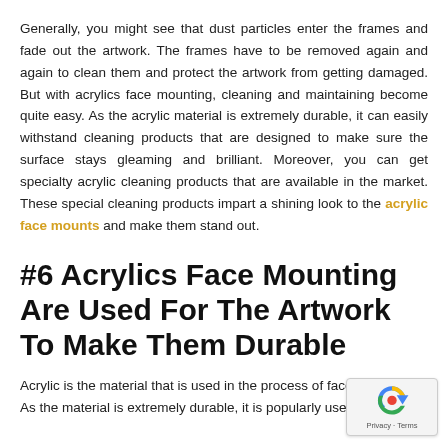Generally, you might see that dust particles enter the frames and fade out the artwork. The frames have to be removed again and again to clean them and protect the artwork from getting damaged. But with acrylics face mounting, cleaning and maintaining become quite easy. As the acrylic material is extremely durable, it can easily withstand cleaning products that are designed to make sure the surface stays gleaming and brilliant. Moreover, you can get specialty acrylic cleaning products that are available in the market. These special cleaning products impart a shining look to the acrylic face mounts and make them stand out.
#6 Acrylics Face Mounting Are Used For The Artwork To Make Them Durable
Acrylic is the material that is used in the process of face mounting. As the material is extremely durable, it is popularly used in print...